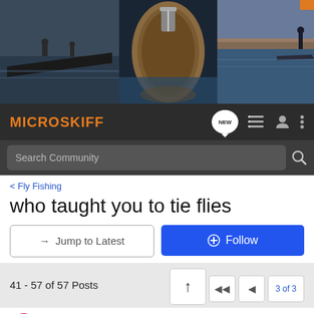[Figure (screenshot): Microskiff website banner with three boat/water images side by side]
MICROSKIFF
Search Community
< Fly Fishing
who taught you to tie flies
→ Jump to Latest
+ Follow
41 - 57 of 57 Posts
3 of 3
Alex from GA · Registered 🇺🇸